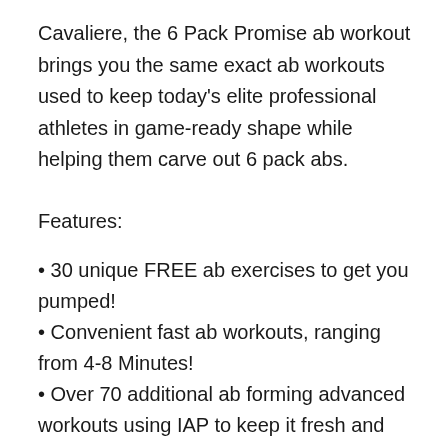Cavaliere, the 6 Pack Promise ab workout brings you the same exact ab workouts used to keep today's elite professional athletes in game-ready shape while helping them carve out 6 pack abs.
Features:
30 unique FREE ab exercises to get you pumped!
Convenient fast ab workouts, ranging from 4-8 Minutes!
Over 70 additional ab forming advanced workouts using IAP to keep it fresh and exciting
Video demonstrations of all 105 ab crushing exercises by celebrity pro trainer, Jeff Cavaliere